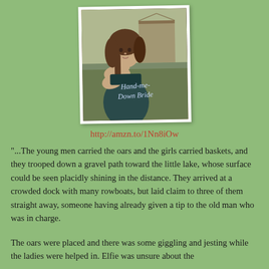[Figure (illustration): Book cover for 'Hand-me-Down Bride' showing a young woman with brown hair in a teal/dark dress, posed with a rural/barn background. The title is written in cursive script across the cover.]
http://amzn.to/1Nn8iOw
"...The young men carried the oars and the girls carried baskets, and they trooped down a gravel path toward the little lake, whose surface could be seen placidly shining in the distance. They arrived at a crowded dock with many rowboats, but laid claim to three of them straight away, someone having already given a tip to the old man who was in charge.
The oars were placed and there was some giggling and jesting while the ladies were helped in. Elfie was unsure about the